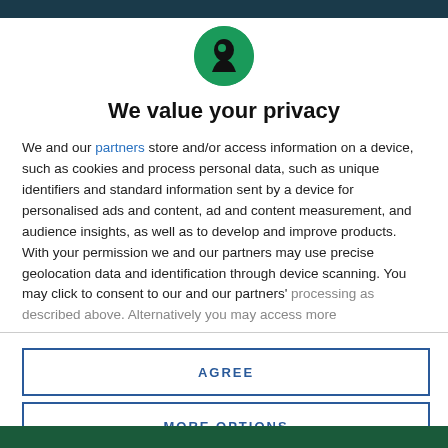[Figure (logo): Circular green logo with black silhouette of a person/figure facing right]
We value your privacy
We and our partners store and/or access information on a device, such as cookies and process personal data, such as unique identifiers and standard information sent by a device for personalised ads and content, ad and content measurement, and audience insights, as well as to develop and improve products. With your permission we and our partners may use precise geolocation data and identification through device scanning. You may click to consent to our and our partners' processing as described above. Alternatively you may access more
AGREE
MORE OPTIONS